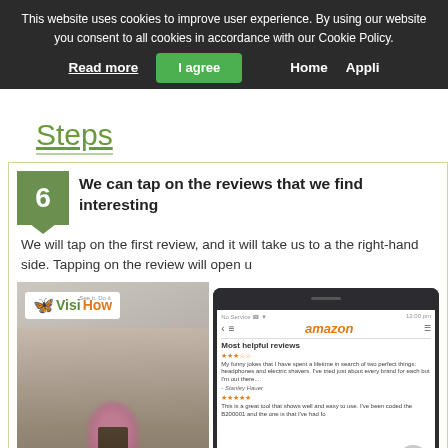This website uses cookies to improve user experience. By using our website you consent to all cookies in accordance with our Cookie Policy.
Read more  I agree  Home  Appli...
Steps
6 We can tap on the reviews that we find interesting. We will tap on the first review, and it will take us to a the right-hand side. Tapping on the review will open u
[Figure (screenshot): Screenshot showing VisiHow logo overlaid on a blurred photo of a potted flower plant, next to a smartphone screen showing Amazon app with Most helpful reviews section]